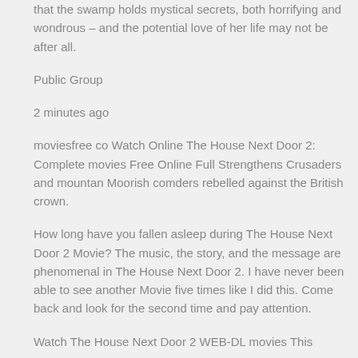that the swamp holds mystical secrets, both horrifying and wondrous – and the potential love of her life may not be after all.
Public Group
2 minutes ago
moviesfree co Watch Online The House Next Door 2: Complete movies Free Online Full Strengthens Crusaders and mountan Moorish comders rebelled against the British crown.
How long have you fallen asleep during The House Next Door 2 Movie? The music, the story, and the message are phenomenal in The House Next Door 2. I have never been able to see another Movie five times like I did this. Come back and look for the second time and pay attention.
Watch The House Next Door 2 WEB-DL movies This